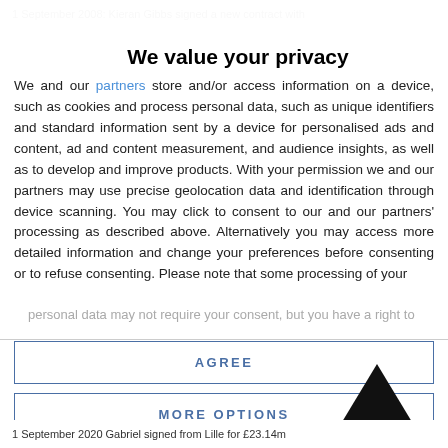1 September 2008: Kieran Gibbs signed a new contract with
We value your privacy
We and our partners store and/or access information on a device, such as cookies and process personal data, such as unique identifiers and standard information sent by a device for personalised ads and content, ad and content measurement, and audience insights, as well as to develop and improve products. With your permission we and our partners may use precise geolocation data and identification through device scanning. You may click to consent to our and our partners' processing as described above. Alternatively you may access more detailed information and change your preferences before consenting or to refuse consenting. Please note that some processing of your
personal data may not require your consent, but you have a right to
AGREE
MORE OPTIONS
1 September 2020 Gabriel signed from Lille for £23.14m